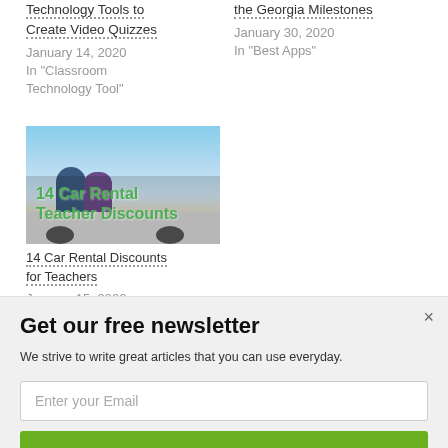Technology Tools to Create Video Quizzes
January 14, 2020
In "Classroom Technology Tool"
the Georgia Milestones
January 30, 2020
In "Best Apps"
[Figure (photo): Two people leaning over a white car with mountains in background. Text overlay reads: 14 Car Rental Teacher Discounts]
14 Car Rental Discounts for Teachers
January 15, 2020
Get our free newsletter
We strive to write great articles that you can use everyday.
Enter your Email
SUBSCRIBE NOW